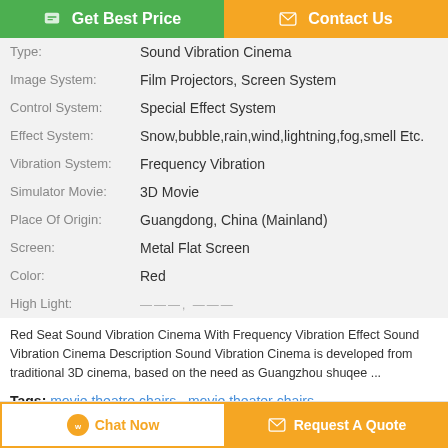[Figure (other): Get Best Price button (green) and Contact Us button (orange)]
| Type: | Sound Vibration Cinema |
| Image System: | Film Projectors, Screen System |
| Control System: | Special Effect System |
| Effect System: | Snow,bubble,rain,wind,lightning,fog,smell Etc. |
| Vibration System: | Frequency Vibration |
| Simulator Movie: | 3D Movie |
| Place Of Origin: | Guangdong, China (Mainland) |
| Screen: | Metal Flat Screen |
| Color: | Red |
| High Light: | ———, ——— |
Red Seat Sound Vibration Cinema With Frequency Vibration Effect Sound Vibration Cinema Description Sound Vibration Cinema is developed from traditional 3D cinema, based on the need as Guangzhou shuqee ...
Tags: movie theatre chairs , movie theater chairs , movie theatre seats
[Figure (other): Chat Now button (white with orange border) and Request A Quote button (orange)]